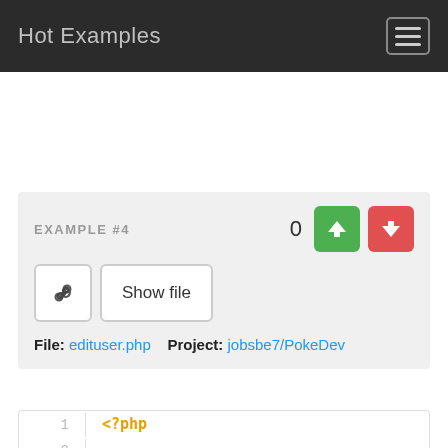Hot Examples
EXAMPLE #4
File: edituser.php   Project: jobsbe7/PokeDev
<?php

if (!defined('ADMIN')) {